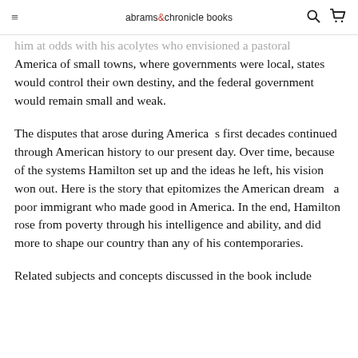abrams&chronicle books
him at odds with his acolytes who envisioned a pastoral America of small towns, where governments were local, states would control their own destiny, and the federal government would remain small and weak.
The disputes that arose during America’s first decades continued through American history to our present day. Over time, because of the systems Hamilton set up and the ideas he left, his vision won out. Here is the story that epitomizes the American dream — a poor immigrant who made good in America. In the end, Hamilton rose from poverty through his intelligence and ability, and did more to shape our country than any of his contemporaries.
Related subjects and concepts discussed in the book include